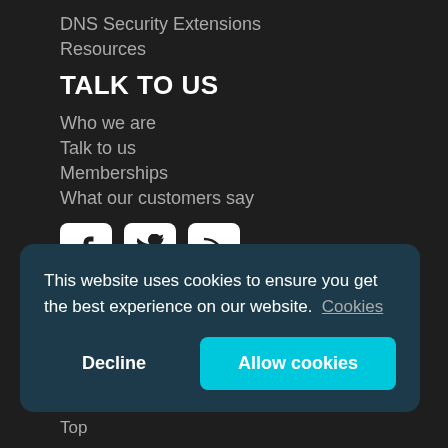DNS Security Extensions
Resources
TALK TO US
Who we are
Talk to us
Memberships
What our customers say
[Figure (illustration): Social media icons: Facebook, Twitter, RSS feed]
LOGIN
This website uses cookies to ensure you get the best experience on our website. Cookies
Decline
Allow cookies
Top